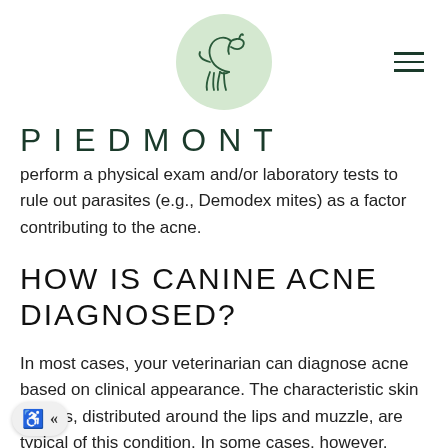PIEDMONT
perform a physical exam and/or laboratory tests to rule out parasites (e.g., Demodex mites) as a factor contributing to the acne.
HOW IS CANINE ACNE DIAGNOSED?
In most cases, your veterinarian can diagnose acne based on clinical appearance. The characteristic skin lesions, distributed around the lips and muzzle, are typical of this condition. In some cases, however, further diagnostics may be required to confirm the diagnosis. Your veterinarian may recommend a biopsy of the skin to confirm the diagnosis